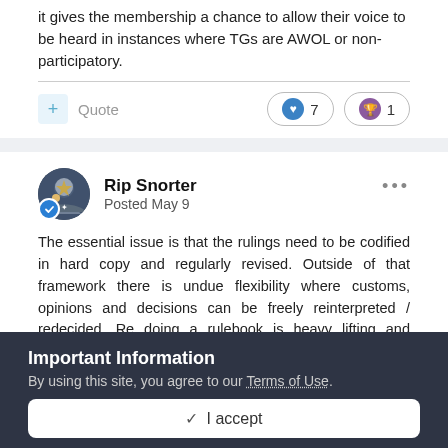it gives the membership a chance to allow their voice to be heard in instances where TGs are AWOL or non-participatory.
+ Quote   ❤ 7   🏆 1
Rip Snorter
Posted May 9
The essential issue is that the rulings need to be codified in hard copy and regularly revised.  Outside of that framework there is undue flexibility where customs, opinions and decisions can be freely reinterpreted / redecided.  Re doing a rulebook is heavy lifting and requires a particular mind set and skill set.  Most don't
Important Information
By using this site, you agree to our Terms of Use.
✓ I accept